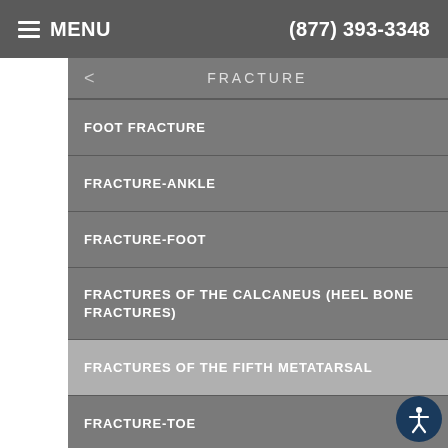MENU  (877) 393-3348
< FRACTURE
FOOT FRACTURE
FRACTURE-ANKLE
FRACTURE-FOOT
FRACTURES OF THE CALCANEUS (HEEL BONE FRACTURES)
FRACTURES OF THE FIFTH METATARSAL
FRACTURE-TOE
JONES FRACTURE